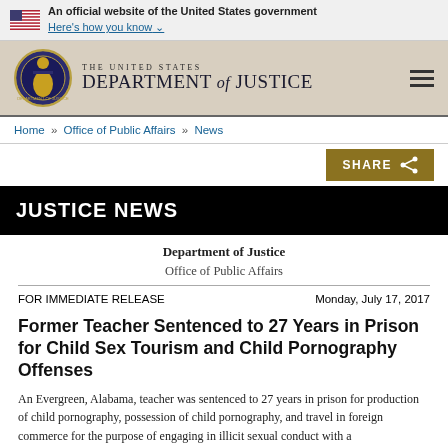An official website of the United States government Here's how you know
[Figure (logo): Department of Justice seal and wordmark with THE UNITED STATES DEPARTMENT of JUSTICE text]
Home » Office of Public Affairs » News
SHARE
JUSTICE NEWS
Department of Justice
Office of Public Affairs
FOR IMMEDIATE RELEASE	Monday, July 17, 2017
Former Teacher Sentenced to 27 Years in Prison for Child Sex Tourism and Child Pornography Offenses
An Evergreen, Alabama, teacher was sentenced to 27 years in prison for production of child pornography, possession of child pornography, and travel in foreign commerce for the purpose of engaging in illicit sexual conduct with a